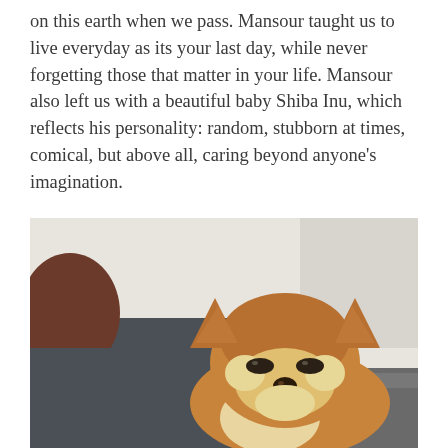on this earth when we pass. Mansour taught us to live everyday as its your last day, while never forgetting those that matter in your life. Mansour also left us with a beautiful baby Shiba Inu, which reflects his personality: random, stubborn at times, comical, but above all, caring beyond anyone's imagination.
[Figure (photo): A person and a Shiba Inu dog sitting on a couch. The Shiba Inu is in the foreground with orange-brown and white fur, pointed ears, and eyes partially closed. A person wearing a dark grey t-shirt is visible to the left. The background shows a white/cream wall.]